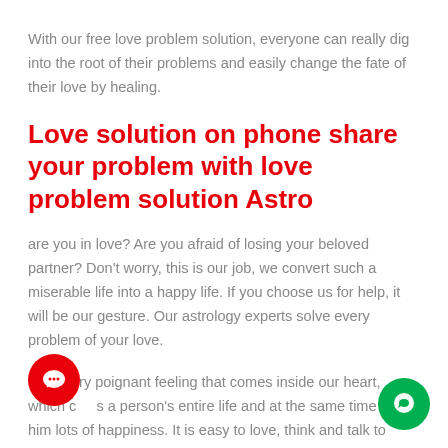With our free love problem solution, everyone can really dig into the root of their problems and easily change the fate of their love by healing.
Love solution on phone share your problem with love problem solution Astro
are you in love? Are you afraid of losing your beloved partner? Don't worry, this is our job, we convert such a miserable life into a happy life. If you choose us for help, it will be our gesture. Our astrology experts solve every problem of your love.
L... a very poignant feeling that comes inside our heart, which ch...s a person's entire life and at the same time gives him lots of happiness. It is easy to love, think and talk to someone, but...